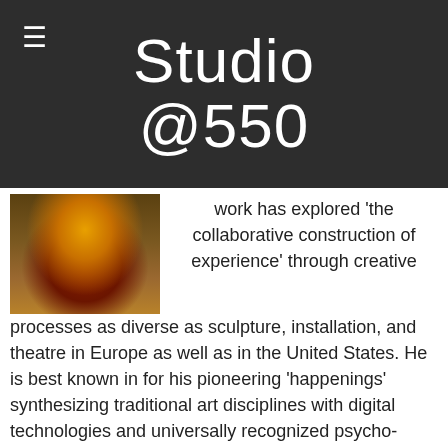Studio @550
[Figure (photo): Photo of a sculptural artwork — appears to be a small colorful figurine or ceramic piece with yellow and red tones, sitting on a sandy or stone surface.]
work has explored 'the collaborative construction of experience' through creative processes as diverse as sculpture, installation, and theatre in Europe as well as in the United States. He is best known in for his pioneering 'happenings' synthesizing traditional art disciplines with digital technologies and universally recognized psycho-geographical maps. Pedro taught theatre design at Marlboro College, VT and has served as assistant to the Master Scenic at the Seattle Opera. His projects include work with: The Untied Nations; San Francisco Museum of Modern Art; Seattle Art Museum; Bellevue Art Museum; Experience Music Project; Seattle International Film Festival; as well as